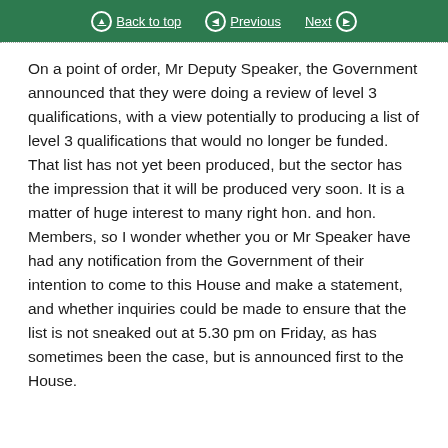Back to top | Previous | Next
On a point of order, Mr Deputy Speaker, the Government announced that they were doing a review of level 3 qualifications, with a view potentially to producing a list of level 3 qualifications that would no longer be funded. That list has not yet been produced, but the sector has the impression that it will be produced very soon. It is a matter of huge interest to many right hon. and hon. Members, so I wonder whether you or Mr Speaker have had any notification from the Government of their intention to come to this House and make a statement, and whether inquiries could be made to ensure that the list is not sneaked out at 5.30 pm on Friday, as has sometimes been the case, but is announced first to the House.